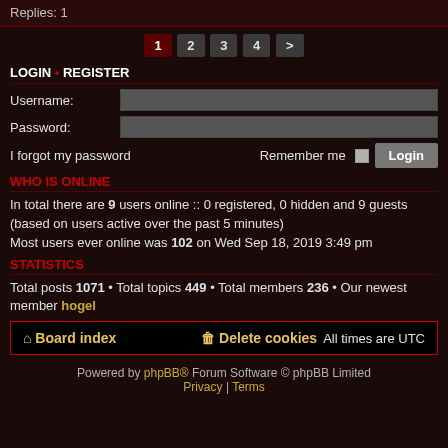Replies: 1
Pagination: 1 2 3 4 >
LOGIN • REGISTER
Username: [input field]
Password: [input field]
I forgot my password    Remember me [checkbox] [Login button]
WHO IS ONLINE
In total there are 9 users online :: 0 registered, 0 hidden and 9 guests (based on users active over the past 5 minutes)
Most users ever online was 102 on Wed Sep 18, 2019 3:49 pm
STATISTICS
Total posts 1071 • Total topics 449 • Total members 236 • Our newest member hogel
Board index    Delete cookies    All times are UTC
Powered by phpBB® Forum Software © phpBB Limited
Privacy | Terms